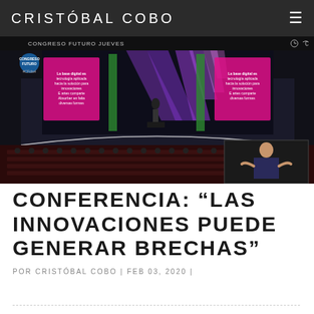CRISTÓBAL COBO
[Figure (photo): Conference event photo showing a speaker on stage at Congreso Futuro Jueves, with a large auditorium audience, colorful stage lighting, and a sign language interpreter in the bottom right corner.]
CONFERENCIA: "LAS INNOVACIONES PUEDE GENERAR BRECHAS"
POR CRISTÓBAL COBO | FEB 03, 2020 |